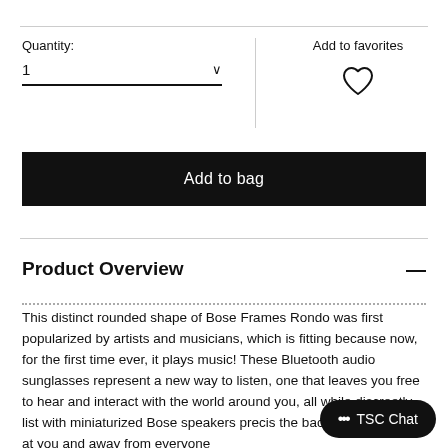Quantity:
1
Add to favorites
Add to bag
Product Overview
This distinct rounded shape of Bose Frames Rondo was first popularized by artists and musicians, which is fitting because now, for the first time ever, it plays music! These Bluetooth audio sunglasses represent a new way to listen, one that leaves you free to hear and interact with the world around you, all while discreetly list with miniaturized Bose speakers precis the back to direct sound at you and away from everyone
TSC Chat